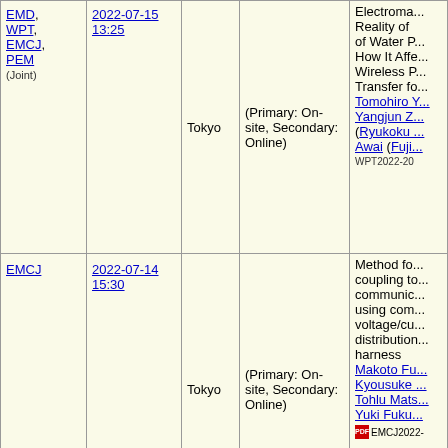| Society | DateTime | Location | Format | Paper/Authors |
| --- | --- | --- | --- | --- |
| EMD, WPT, EMCJ, PEM (Joint) | 2022-07-15 13:25 | Tokyo | (Primary: On-site, Secondary: Online) | Electroma... Reality of of Water P... How It Affe... Wireless P... Transfer fo... Tomohiro Y... Yangjun Z... (Ryukoku... Awai (Fuji... WPT2022-20 |
| EMCJ | 2022-07-14 15:30 | Tokyo | (Primary: On-site, Secondary: Online) | Method fo... coupling to... communic... using com... voltage/cu... distribution... harness Makoto Fu... Kyousuke... Tohlu Mats... Yuki Fuku... EMCJ2022- |
|  |  |  |  | [Short Par... |